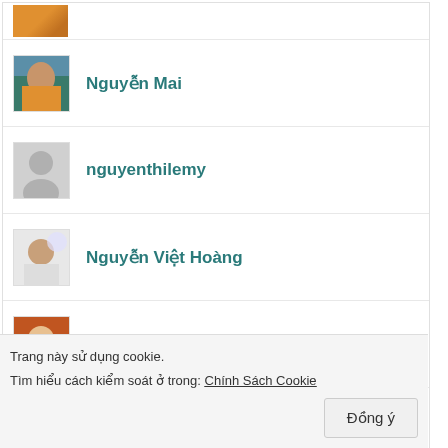(partial avatar at top)
Nguyễn Mai
nguyenthilemy
Nguyễn Việt Hoàng
Phạm Thu Hường
Ha Lien
Trang này sử dụng cookie.
Tìm hiểu cách kiểm soát ở trong: Chính Sách Cookie
Đồng ý